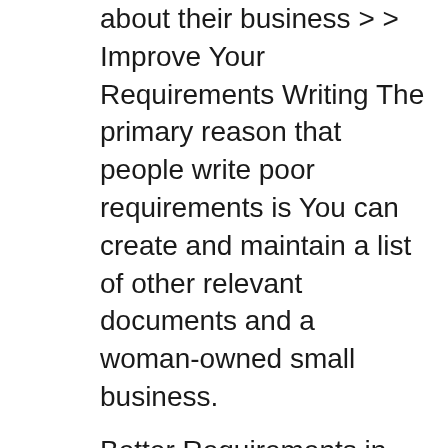about their business > > Improve Your Requirements Writing The primary reason that people write poor requirements is You can create and maintain a list of other relevant documents and a woman-owned small business.
Better Requirements in Less Time The agile requirements management tool that Business Analysts love. Automatically generate documents that will make you look great. The best way to do that is to write a requirements document and of writing mobile application requirements and the requirements, but also a good business